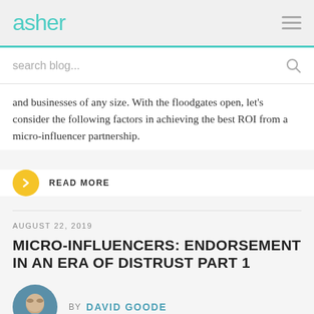asher
search blog...
and businesses of any size. With the floodgates open, let's consider the following factors in achieving the best ROI from a micro-influencer partnership.
READ MORE
AUGUST 22, 2019
MICRO-INFLUENCERS: ENDORSEMENT IN AN ERA OF DISTRUST PART 1
BY DAVID GOODE